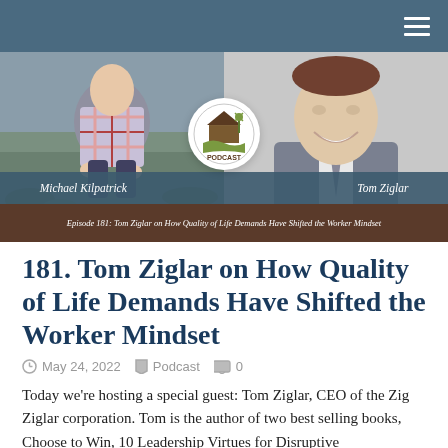Navigation bar with hamburger menu
[Figure (photo): Podcast episode cover image showing two photos side by side: left photo of Michael Kilpatrick (person in plaid shirt in a field), right photo of Tom Ziglar (man smiling in a suit), with the Thriving Farmer Podcast logo circle in the center, name bar showing 'Michael Kilpatrick' and 'Tom Ziglar', and episode bar reading 'Episode 181: Tom Ziglar on How Quality of Life Demands Have Shifted the Worker Mindset']
181. Tom Ziglar on How Quality of Life Demands Have Shifted the Worker Mindset
May 24, 2022   Podcast   0
Today we're hosting a special guest: Tom Ziglar, CEO of the Zig Ziglar corporation. Tom is the author of two best selling books, Choose to Win, 10 Leadership Virtues for Disruptive